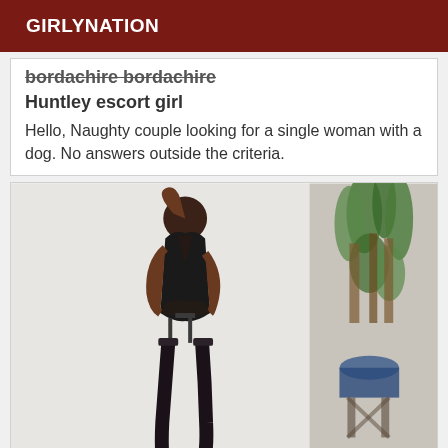GIRLYNATION
bordachire bordachire
Huntley escort girl
Hello, Naughty couple looking for a single woman with a dog. No answers outside the criteria.
[Figure (photo): A woman in a black lingerie bodysuit and stockings posing in front of a white background with green plants on the right side.]